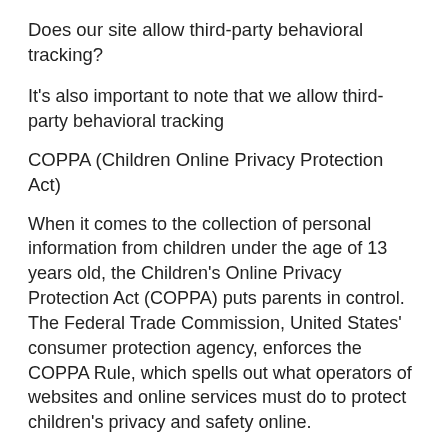Does our site allow third-party behavioral tracking?
It's also important to note that we allow third-party behavioral tracking
COPPA (Children Online Privacy Protection Act)
When it comes to the collection of personal information from children under the age of 13 years old, the Children's Online Privacy Protection Act (COPPA) puts parents in control. The Federal Trade Commission, United States' consumer protection agency, enforces the COPPA Rule, which spells out what operators of websites and online services must do to protect children's privacy and safety online.
We do not specifically market to children under the age of 13 years old.